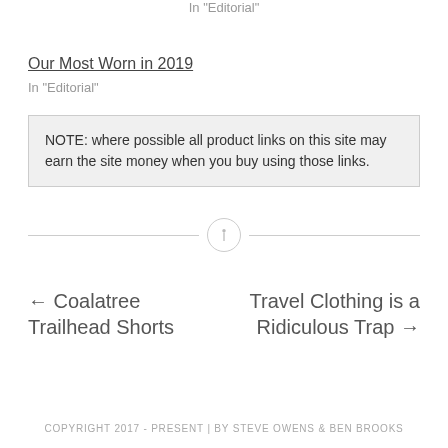In "Editorial"
Our Most Worn in 2019
In "Editorial"
NOTE: where possible all product links on this site may earn the site money when you buy using those links.
← Coalatree Trailhead Shorts
Travel Clothing is a Ridiculous Trap →
COPYRIGHT 2017 - PRESENT | BY STEVE OWENS & BEN BROOKS